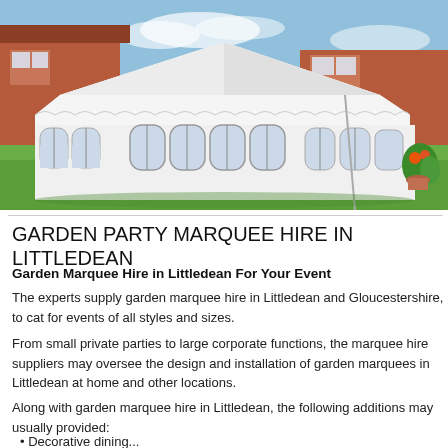[Figure (photo): A large white octagonal marquee tent set up on a green lawn in a garden, with arched windows along the sides and scalloped edges on the roof. A brick house with white-framed windows is visible in the background under a blue sky.]
GARDEN PARTY MARQUEE HIRE IN LITTLEDEAN
Garden Marquee Hire in Littledean For Your Event
The experts supply garden marquee hire in Littledean and Gloucestershire, to cat for events of all styles and sizes.
From small private parties to large corporate functions, the marquee hire suppliers may oversee the design and installation of garden marquees in Littledean at home and other locations.
Along with garden marquee hire in Littledean, the following additions may usually provided:
Decorative dining...